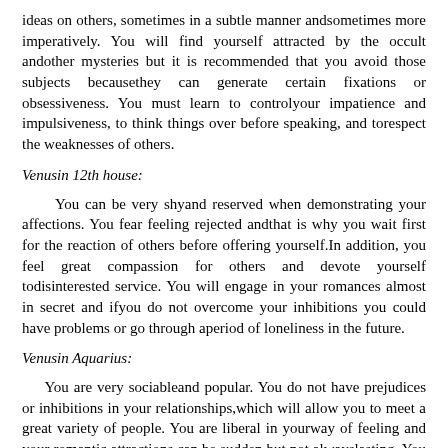ideas on others, sometimes in a subtle manner andsometimes more imperatively. You will find yourself attracted by the occult andother mysteries but it is recommended that you avoid those subjects becausethey can generate certain fixations or obsessiveness. You must learn to controlyour impatience and impulsiveness, to think things over before speaking, and torespect the weaknesses of others.
Venusin 12th house:
You can be very shyand reserved when demonstrating your affections. You fear feeling rejected andthat is why you wait first for the reaction of others before offering yourself.In addition, you feel great compassion for others and devote yourself todisinterested service. You will engage in your romances almost in secret and ifyou do not overcome your inhibitions you could have problems or go through aperiod of loneliness in the future.
Venusin Aquarius:
You are very sociableand popular. You do not have prejudices or inhibitions in your relationships,which will allow you to meet a great variety of people. You are liberal in yourway of feeling and your romantic attractions can be sudden but not alwayslasting. You will run away from every relationship that tends to tie you downor